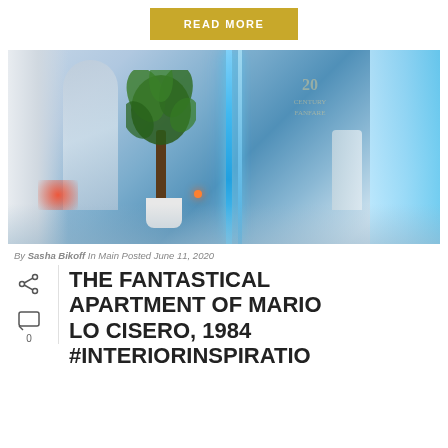READ MORE
[Figure (photo): Interior photo of a futuristic apartment with blue neon lighting, a large potted tropical plant, transparent acrylic furniture, and illuminated vertical bars. A projected '20th Century Fox' logo is visible in the background.]
By Sasha Bikoff In Main Posted June 11, 2020
THE FANTASTICAL APARTMENT OF MARIO LO CISERO, 1984 #INTERIORINSPIRATIO